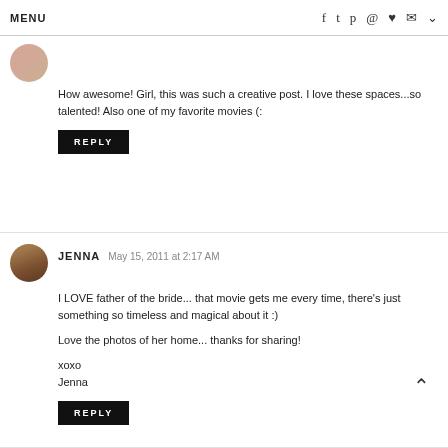MENU  [social icons: facebook, twitter, pinterest, instagram, heart, mail, chevron]
[Figure (photo): Circular avatar photo of a person, cropped at top]
How awesome! Girl, this was such a creative post. I love these spaces...so talented! Also one of my favorite movies (:
REPLY
[Figure (photo): Circular avatar photo of Jenna, a woman with long dark hair]
JENNA  May 15, 2011 at 2:17 AM
I LOVE father of the bride... that movie gets me every time, there's just something so timeless and magical about it :)
Love the photos of her home... thanks for sharing!
xoxo
Jenna
REPLY